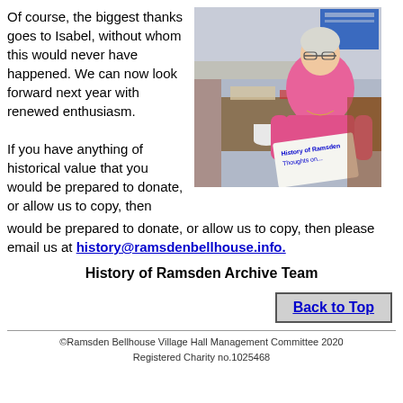Of course, the biggest thanks goes to Isabel, without whom this would never have happened. We can now look forward next year with renewed enthusiasm.

If you have anything of historical value that you would be prepared to donate, or allow us to copy, then please email us at history@ramsdenbellhouse.info.
[Figure (photo): Elderly woman in pink jumper sitting at a table, holding a document reading 'History of Ramsden Thoughts on...']
History of Ramsden Archive Team
Back to Top
©Ramsden Bellhouse Village Hall Management Committee 2020
Registered Charity no.1025468